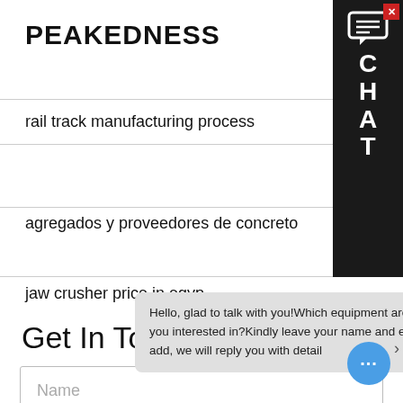PEAKEDNESS
ME
rail track manufacturing process
agregados y proveedores de concreto
jaw crusher price in egyp
Get In Touch
Name
Enter
Hello, glad to talk with you!Which equipment are you interested in?Kindly leave your name and email add, we will reply you with detail